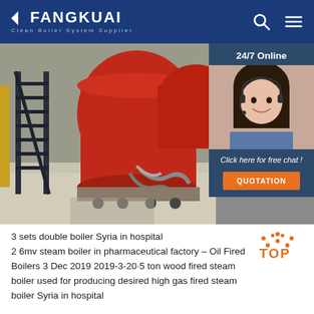FANGKUAI - Clean Boiler System Supplier
[Figure (photo): Industrial boiler room with red cylindrical boilers, blue metal staircase, hoses and pipes, white tile floor. Overlay shows 24/7 online customer service chat widget with female agent wearing headset, 'Click here for free chat!' text, and orange QUOTATION button.]
[Figure (logo): TOP badge with orange dotted arch above orange TOP text]
3 sets double boiler Syria in hospital
2 6mv steam boiler in pharmaceutical factory – Oil Fired Boilers 3 Dec 2019 2019-3-20·5 ton wood fired steam boiler used for producing desired high gas fired steam boiler Syria in hospital